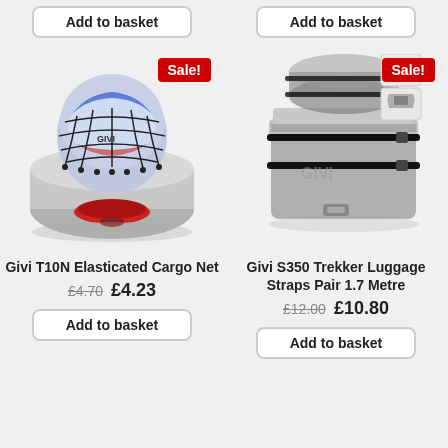Add to basket
Add to basket
[Figure (photo): Givi T10N Elasticated Cargo Net shown stretched over a motorcycle top case with helmet underneath, Sale! badge in red]
Givi T10N Elasticated Cargo Net
£4.70  £4.23
Add to basket
[Figure (photo): Givi S350 Trekker Luggage Straps Pair 1.7 Metre shown strapped over a motorcycle top case with roll bag, Sale! badge in red, two small thumbnail images top right]
Givi S350 Trekker Luggage Straps Pair 1.7 Metre
£12.00  £10.80
Add to basket